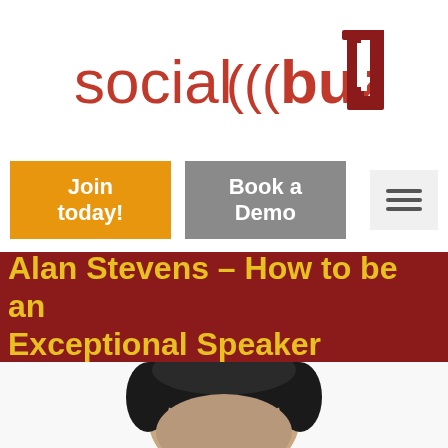[Figure (logo): Social Buzz U logo with text 'social ((( buzz )))' in red/crimson and a block letter U in dark red on the right]
[Figure (screenshot): Navigation bar with orange 'Join today!' button, grey 'Book a Demo' button, and a hamburger menu icon]
Alan Stevens – How to be an Exceptional Speaker
[Figure (photo): Black and white headshot photo of a person (Alan Stevens), showing the top of the head with dark hair, cropped at the bottom of the page]